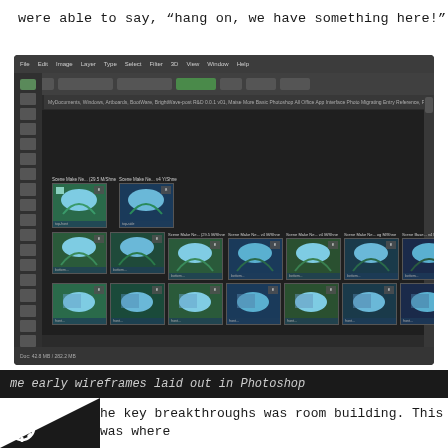were able to say, “hang on, we have something here!”
[Figure (screenshot): Adobe Photoshop interface showing a grid of thumbnail images of a spiral/pool scene, arranged in rows. Dark background with three rows of image thumbnails with labels above each column.]
me early wireframes laid out in Photoshop
he key breakthroughs was room building. This was where